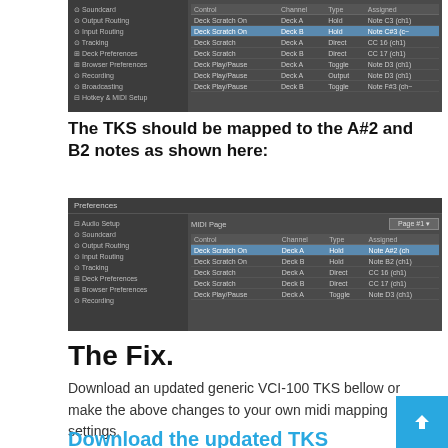[Figure (screenshot): Traktor Preferences window showing MIDI mapping table with Deck Scratch On entries highlighted]
The TKS should be mapped to the A#2 and B2 notes as shown here:
[Figure (screenshot): Traktor Preferences window showing MIDI mapping with Deck Scratch On mapped to Note A#2 and Note B2]
The Fix.
Download an updated generic VCI-100 TKS bellow or make the above changes to your own midi mapping settings.
Download the updated TKS